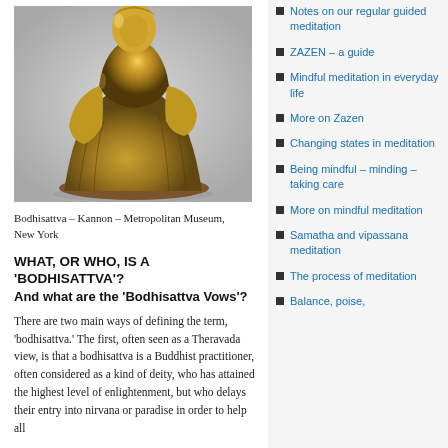[Figure (photo): Golden Bodhisattva statue (Kannon) photographed against a gray background, gilded bronze figure in seated position with flowing robes]
Bodhisattva – Kannon – Metropolitan Museum, New York
WHAT, OR WHO, IS A 'BODHISATTVA'?
And what are the 'Bodhisattva Vows'?
There are two main ways of defining the term, 'bodhisattva.' The first, often seen as a Theravada view, is that a bodhisattva is a Buddhist practitioner, often considered as a kind of deity, who has attained the highest level of enlightenment, but who delays their entry into nirvana or paradise in order to help all other beings to gain in spiritual grace. The
Notes on our regular guided meditation
ZAZEN – a guide
Mindful meditation in everyday life
More on Zazen
Changing states in meditation
Being mindful – minding – taking care
More on mindful meditation
Samatha and vipassana meditation
The process of meditation
Balance, poise,